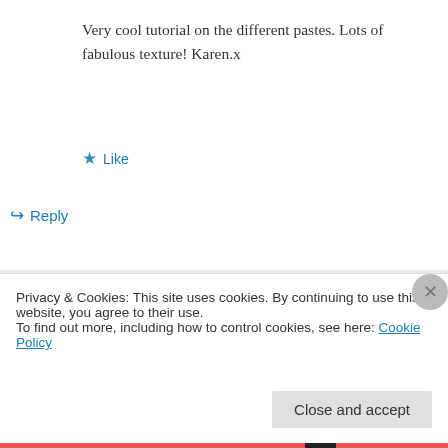Very cool tutorial on the different pastes. Lots of fabulous texture! Karen.x
★ Like
↪ Reply
Sara on June 4, 2014 at 9:01 pm
Thank you Karen!
★ Like
Privacy & Cookies: This site uses cookies. By continuing to use this website, you agree to their use.
To find out more, including how to control cookies, see here: Cookie Policy
Close and accept